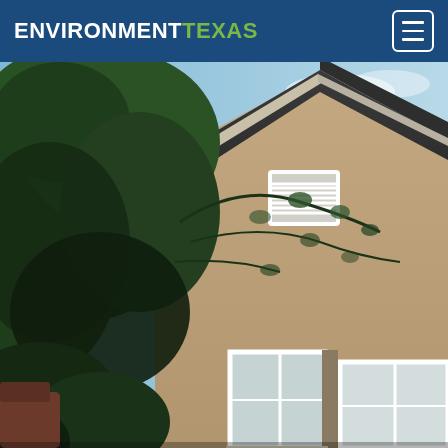ENVIRONMENT TEXAS
[Figure (photo): Exterior photo of a residential house gable end with tan/beige stucco siding, a white louvered attic vent window, dark shingle roof, large windows at lower level, and green leafy tree branches covering much of the left side of the image. Sky is light blue in the upper right.]